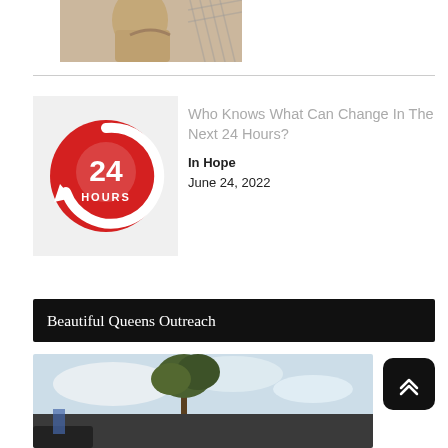[Figure (photo): Partial view of a person in beige clothing against a chain-link fence background]
[Figure (logo): Red circular 24 Hours logo with arrow and '24 HOURS' text in white on red background]
Who Knows What Can Change In The Next 24 Hours?
In Hope
June 24, 2022
Beautiful Queens Outreach
[Figure (photo): Outdoor scene with trees and sky, blue clouds visible]
[Figure (other): Scroll-to-top button with double chevron up arrow icon]